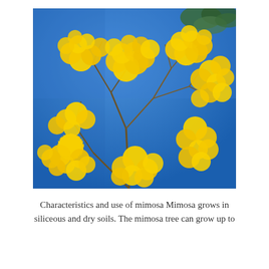[Figure (photo): Close-up photo of mimosa (Acacia) flowers — bright yellow fluffy pompom-like blooms on branching stems against a vivid blue sky background.]
Characteristics and use of mimosa Mimosa grows in siliceous and dry soils. The mimosa tree can grow up to